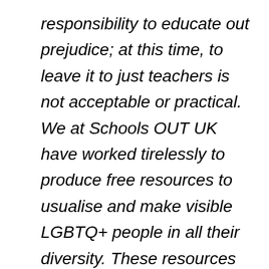responsibility to educate out prejudice; at this time, to leave it to just teachers is not acceptable or practical. We at Schools OUT UK have worked tirelessly to produce free resources to usualise and make visible LGBTQ+ people in all their diversity. These resources are available not just in February – LGBT History Month – but all year round, for libraries, archives, museums, local authorities, galleries, museums, unions etc as well as educators. The aim is to enable all of us to play our part in making our society a place where we can all be safe, and to